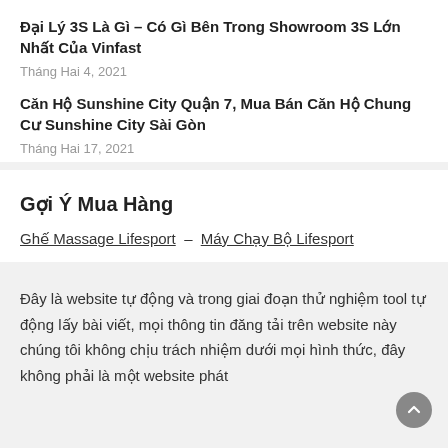Đại Lý 3S Là Gì – Có Gì Bên Trong Showroom 3S Lớn Nhất Của Vinfast
Tháng Hai 4, 2021
Căn Hộ Sunshine City Quận 7, Mua Bán Căn Hộ Chung Cư Sunshine City Sài Gòn
Tháng Hai 17, 2021
Gợi Ý Mua Hàng
Ghế Massage Lifesport – Máy Chạy Bộ Lifesport
Đây là website tự động và trong giai đoạn thử nghiệm tool tự động lấy bài viết, mọi thông tin đăng tải trên website này chúng tôi không chịu trách nhiệm dưới mọi hình thức, đây không phải là một website phát